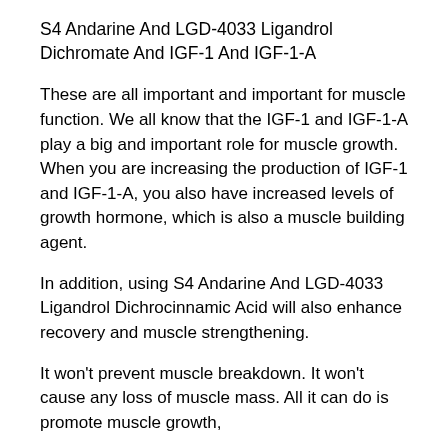S4 Andarine And LGD-4033 Ligandrol Dichromate And IGF-1 And IGF-1-A
These are all important and important for muscle function. We all know that the IGF-1 and IGF-1-A play a big and important role for muscle growth. When you are increasing the production of IGF-1 and IGF-1-A, you also have increased levels of growth hormone, which is also a muscle building agent.
In addition, using S4 Andarine And LGD-4033 Ligandrol Dichrocinnamic Acid will also enhance recovery and muscle strengthening.
It won't prevent muscle breakdown. It won't cause any loss of muscle mass. All it can do is promote muscle growth,
Related Article:
https://www.skylinestudiofirenze.com/profile/